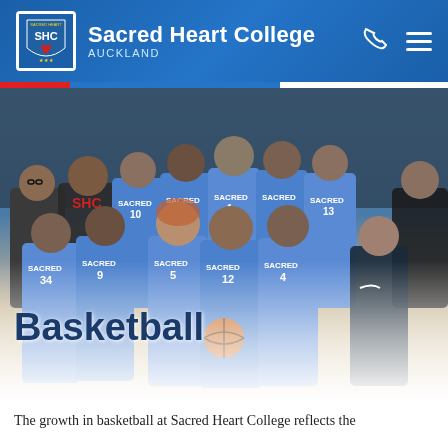Sacred Heart College AUCKLAND
[Figure (photo): Group photo of the Sacred Heart College basketball team in blue and white 'SACRED' jerseys, posed in a gymnasium with coaches. Players wearing numbered jerseys including #34, #5, #9, #12, #4, #1, #13. A basketball is held by a front-row player.]
Basketball
The growth in basketball at Sacred Heart College reflects the